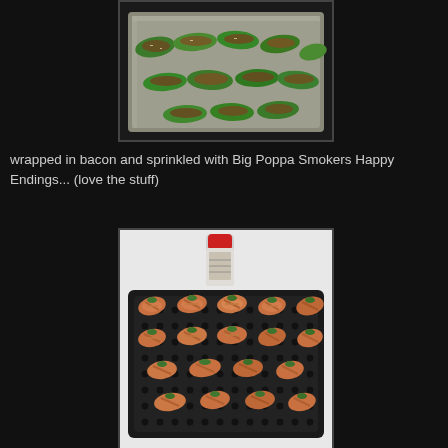[Figure (photo): Stuffed green peppers (jalapenos halved and filled with meat/cheese mixture) arranged on a foil-lined baking tray, viewed from above.]
wrapped in bacon and sprinkled with Big Poppa Smokers Happy Endings... (love the stuff)
[Figure (photo): Bacon-wrapped jalapeno poppers secured with toothpicks, arranged on a perforated black grill/baking rack. A red-capped spice shaker bottle (Big Poppa Smokers Happy Endings) is visible in the background on a white surface.]